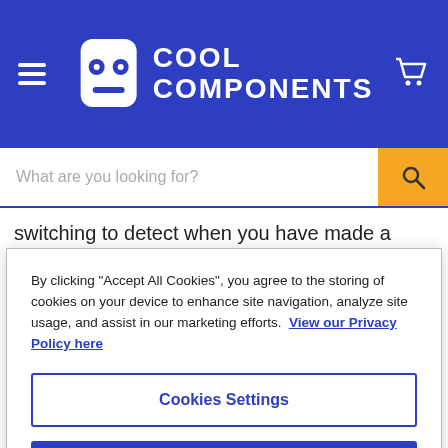[Figure (logo): Cool Components logo with robot face icon and text 'COOL COMPONENTS' on blue header background]
switching to detect when you have made a connection even through materials that aren't very conductive. This allows you to
By clicking "Accept All Cookies", you agree to the storing of cookies on your device to enhance site navigation, analyze site usage, and assist in our marketing efforts. View our Privacy Policy here
Cookies Settings
Reject All
Accept All Cookies